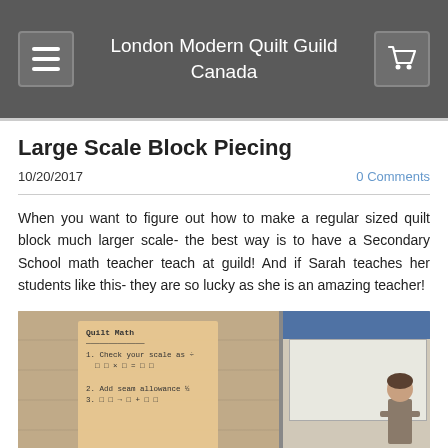London Modern Quilt Guild Canada
Large Scale Block Piecing
10/20/2017
0 Comments
When you want to figure out how to make a regular sized quilt block much larger scale- the best way is to have a Secondary School math teacher teach at guild! And if Sarah teaches her students like this- they are so lucky as she is an amazing teacher!
[Figure (photo): Photo showing a handwritten 'Quilt Math' poster on tan paper on the left, and a classroom/presentation screen on the right with a person visible at far right edge.]